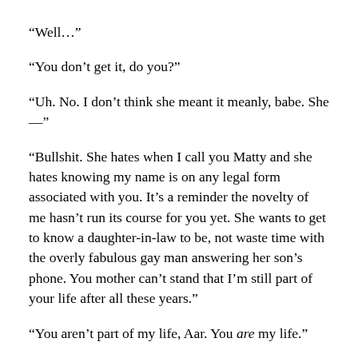“Well…”
“You don’t get it, do you?”
“Uh. No. I don’t think she meant it meanly, babe. She—”
“Bullshit. She hates when I call you Matty and she hates knowing my name is on any legal form associated with you. It’s a reminder the novelty of me hasn’t run its course for you yet. She wants to get to know a daughter-in-law to be, not waste time with the overly fabulous gay man answering her son’s phone. You mother can’t stand that I’m still part of your life after all these years.”
“You aren’t part of my life, Aar. You are my life.”
This time Aaron’s smile was incandescent. It was warm and sunny enough to make this cold evening in mid March feel